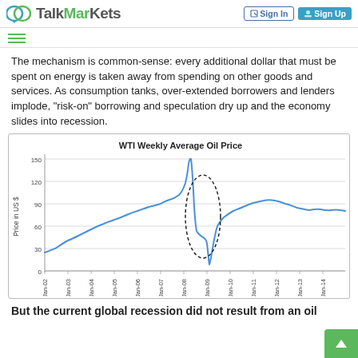TalkMarkets | Sign In | Sign Up
The mechanism is common-sense: every additional dollar that must be spent on energy is taken away from spending on other goods and services. As consumption tanks, over-extended borrowers and lenders implode, "risk-on" borrowing and speculation dry up and the economy slides into recession.
[Figure (continuous-plot): Line chart showing WTI weekly average oil price in US$ from 4-Jan-02 to 4-Jan-14. Price starts around $25, rises to a peak near $145 in mid-2008, crashes to about $30 in early 2009 (the crash and recovery circled with a dashed oval), then recovers and stabilizes around $90-100 through 2014. Y-axis labeled 'Price in US $' with gridlines at 0, 30, 60, 90, 120, 150.]
But the current global recession did not result from an oil